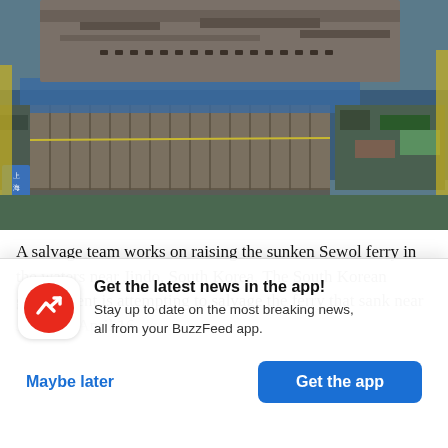[Figure (photo): Aerial view of a salvage operation on the sunken Sewol ferry near Jindo, South Korea. The large ship hull is visible from above, surrounded by salvage barges and equipment. Chinese text banner visible on left side.]
A salvage team works on raising the sunken Sewol ferry in the waters near Jindo, South Korea. The South Korean government is attempting to salvage the ferry that sank near Jindo on April 16,
Get the latest news in the app! Stay up to date on the most breaking news, all from your BuzzFeed app.
Maybe later
Get the app